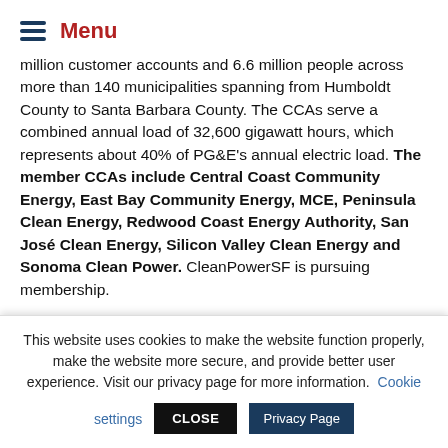Menu
million customer accounts and 6.6 million people across more than 140 municipalities spanning from Humboldt County to Santa Barbara County. The CCAs serve a combined annual load of 32,600 gigawatt hours, which represents about 40% of PG&E's annual electric load. The member CCAs include Central Coast Community Energy, East Bay Community Energy, MCE, Peninsula Clean Energy, Redwood Coast Energy Authority, San José Clean Energy, Silicon Valley Clean Energy and Sonoma Clean Power. CleanPowerSF is pursuing membership.

Additional benefits of the new JPA include enhanced negotiating
This website uses cookies to make the website function properly, make the website more secure, and provide better user experience. Visit our privacy page for more information. Cookie settings  CLOSE  Privacy Page